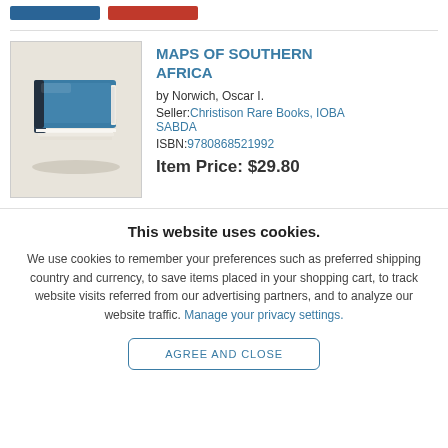[Figure (illustration): Book cover thumbnail showing a stylized illustration of a stack of books with a blue cover]
MAPS OF SOUTHERN AFRICA
by Norwich, Oscar I.
Seller: Christison Rare Books, IOBA SABDA
ISBN: 9780868521992
Item Price: $29.80
This website uses cookies.
We use cookies to remember your preferences such as preferred shipping country and currency, to save items placed in your shopping cart, to track website visits referred from our advertising partners, and to analyze our website traffic. Manage your privacy settings.